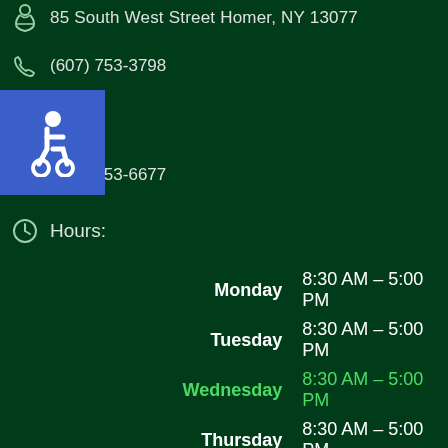85 South West Street Homer, NY 13077
(607) 753-3798
[Figure (illustration): Blue accessibility/wheelchair icon badge]
(607) 753-6677
Hours:
Monday  8:30 AM – 5:00 PM
Tuesday  8:30 AM – 5:00 PM
Wednesday  8:30 AM – 5:00 PM
Thursday  8:30 AM – 5:00 PM
Friday  8:30 AM – 5:00 PM
Saturday  Closed
Sunday  Closed